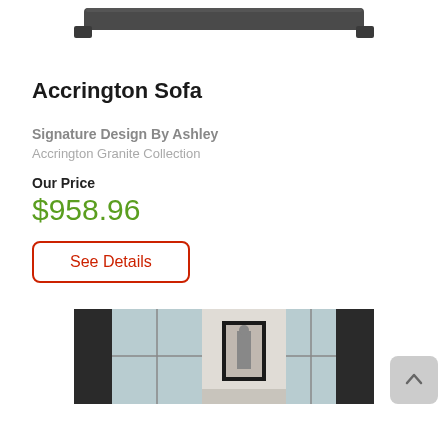[Figure (photo): Top portion of a dark gray upholstered sofa, cropped at the top of the page]
Accrington Sofa
Signature Design By Ashley
Accrington Granite Collection
Our Price
$958.96
See Details
[Figure (photo): Interior room scene showing dark curtains, windows, and a framed artwork on the wall]